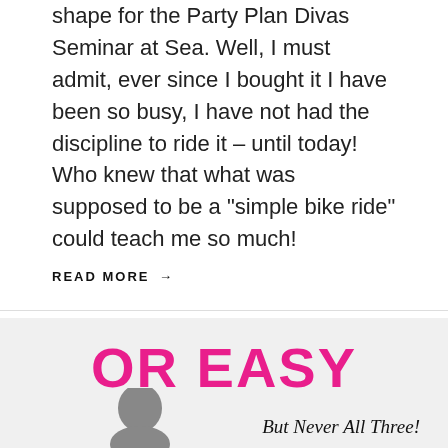shape for the Party Plan Divas Seminar at Sea. Well, I must admit, ever since I bought it I have been so busy, I have not had the discipline to ride it – until today! Who knew that what was supposed to be a "simple bike ride" could teach me so much!
READ MORE →
OR EASY
But Never All Three!